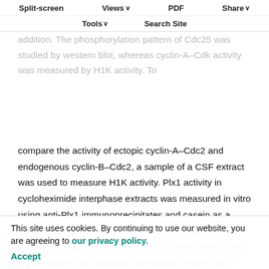removed after Plx1 depletion and before cyclin A addition (0 minutes) or 30 and 60 minutes after cyclin A addition. The phosphorylation pattern of Cdc25 was studied by western blot, whereas cyclin-A–Cdk activity was measured by H1K activity. To compare the activity of ectopic cyclin-A–Cdc2 and endogenous cyclin-B–Cdc2, a sample of a CSF extract was used to measure H1K activity. Plx1 activity in cycloheximide interphase extracts was measured in vitro using anti-Plx1 immunoprecipitates and casein as a substrate. (E) Similar to A, except for the depletion of cyclin A instead of Plx1. The levels of cyclin A left in the supernatants after depletion are shown. Scale bar: 5 µm.
Split-screen  Views  PDF  Share  Tools  Search Site
We further investigated whether endogenous cyclin-A–Cdc2 is required to maintain partial Cdc25 activity by co-depleting interphase extracts of cyclin A, Myt1 and Wee1. Under these conditions, no activation of cyclin-B–Cdc2 was observed, phosphorylation on Try15 of Cdc2 was maintained, Cdc27 was dephosphorylated and cyclin B2
This site uses cookies. By continuing to use our website, you are agreeing to our privacy policy.
Accept